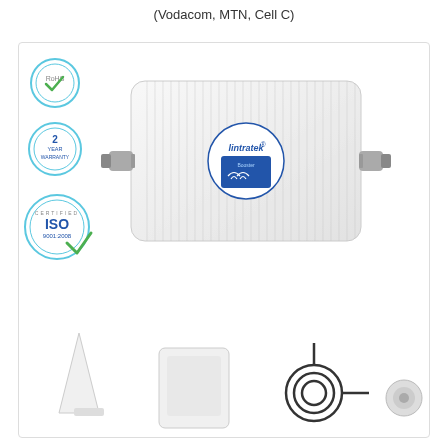(Vodacom, MTN, Cell C)
[Figure (photo): Lintratek dual-band cellular signal booster/repeater device with RoHS certification badge, 2-year warranty badge, ISO 9001:2008 certification badge on left side. The white rectangular device has ventilation slots, a circular Lintratek logo with blue display in center, and coaxial connectors on each side. Below the device are accessories: outdoor antenna (white cone shape), indoor panel antenna, coaxial cable, and N-connector adapter.]